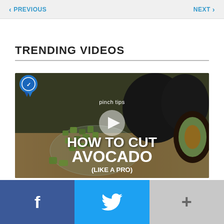PREVIOUS | NEXT
TRENDING VIDEOS
[Figure (screenshot): Video thumbnail for 'How to Cut Avocado (Like a Pro)' by pinch tips, showing diced avocado in a glass bowl with whole and halved avocados on a cutting board. Includes a play button overlay and a blue ribbon badge.]
Facebook share | Twitter share | More